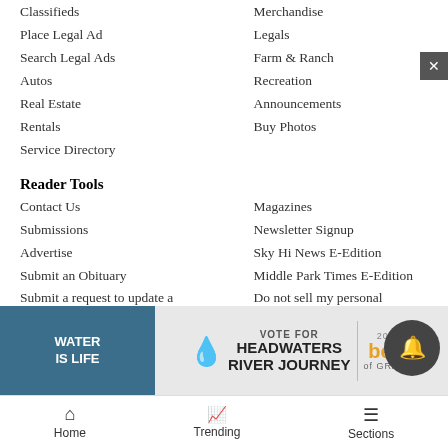Classifieds
Merchandise
Place Legal Ad
Legals
Search Legal Ads
Farm & Ranch
Autos
Recreation
Real Estate
Announcements
Rentals
Buy Photos
Service Directory
Reader Tools
Contact Us
Magazines
Submissions
Newsletter Signup
Advertise
Sky Hi News E-Edition
Submit an Obituary
Middle Park Times E-Edition
Submit a request to update a crime story
Do not sell my personal information
Archive
News Neighbors
Aspen-S...
Brecken...
[Figure (infographic): Advertisement banner: Water Is Life image on left, Vote For Headwaters River Journey text with water drop icon in center, Best of Grand logo on right.]
Home   Trending   Sections